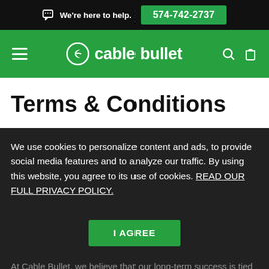We're here to help.  574-742-2737
[Figure (logo): Cable Bullet logo with hamburger menu, circular C logo, cable bullet wordmark, search and bag icons on green navigation bar]
Terms & Conditions
We use cookies to personalize content and ads, to provide social media features and to analyze our traffic. By using this website, you agree to its use of cookies. READ OUR FULL PRIVACY POLICY.
I AGREE
At Cable Bullet, we believe that our long-term success is tied to your satisfaction with our system,